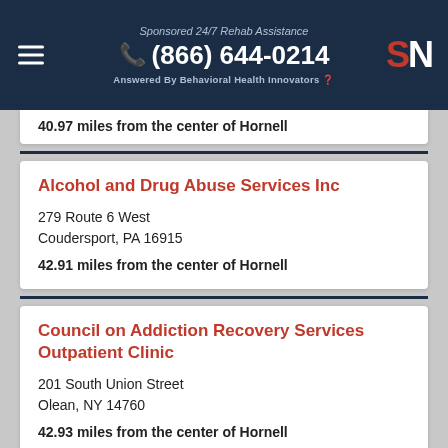Sponsored 24/7 Rehab Assistance
(866) 644-0214
Answered By Behavioral Health Innovators
40.97 miles from the center of Hornell
Alcohol and Drug Abuse Services Inc
279 Route 6 West
Coudersport, PA 16915
42.91 miles from the center of Hornell
Council on Addiction Recovery Services Outpatient Clinic
201 South Union Street
Olean, NY 14760
42.93 miles from the center of Hornell